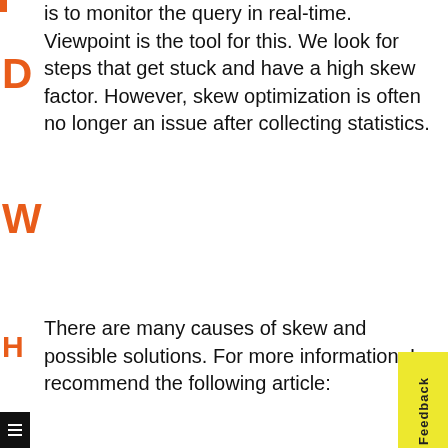is to monitor the query in real-time. Viewpoint is the tool for this. We look for steps that get stuck and have a high skew factor. However, skew optimization is often no longer an issue after collecting statistics.
There are many causes of skew and possible solutions. For more information, I recommend the following article:
[Figure (screenshot): Article card preview for 'Simply get rid of Teradata Skewing' showing icons of a laptop, document, atom symbol, and text snippet: Introduction As a performance tuner, 99% of slow queries can be attributed to precisely two causes. The first cause is...]